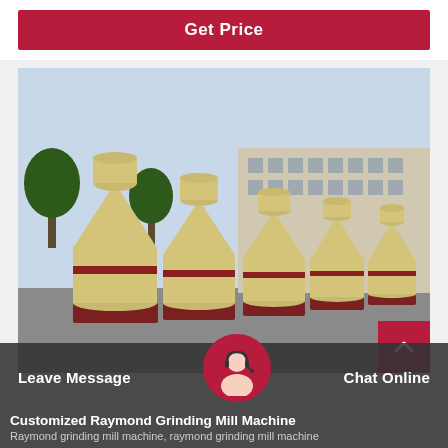Get Price
[Figure (photo): Multiple Raymond grinding mill machines in cream/beige color with red bases lined up in a factory yard outdoors]
Customized Raymond Grinding Mill Machine
Raymond grinding mill machine, raymond grinding mill machine
Leave Message   Chat Online